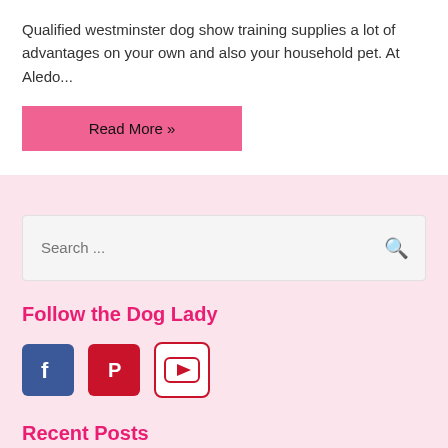Qualified westminster dog show training supplies a lot of advantages on your own and also your household pet. At Aledo...
Read More »
Search ...
Follow the Dog Lady
[Figure (illustration): Social media icons: Facebook (blue), Pinterest (red), YouTube (red outline)]
Recent Posts
Cowboy Corgi: Small but Mighty Friend